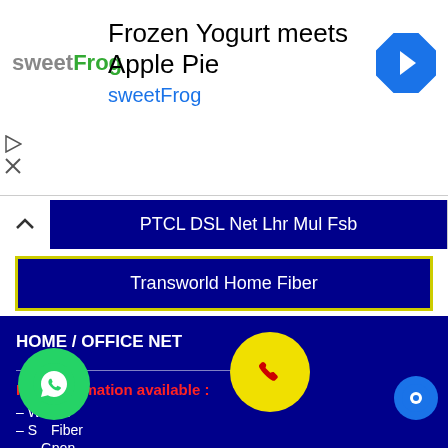[Figure (screenshot): Advertisement banner for sweetFrog frozen yogurt showing logo, title 'Frozen Yogurt meets Apple Pie', brand name and navigation arrow icon]
PTCL DSL Net Lhr Mul Fsb
Transworld Home Fiber
HOME / OFFICE NET
Isps Information available :
– Witribe
– S...Fiber
– ...Gpon
– ...Fi
– Ptcl Charji MiFi